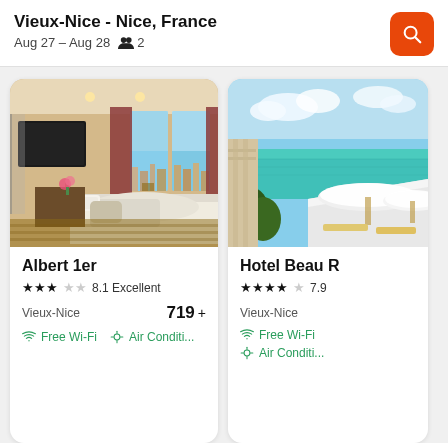Vieux-Nice - Nice, France
Aug 27 – Aug 28    2
[Figure (photo): Hotel room interior with large windows, view of Nice city, bed, sofa, TV on wall, red curtains]
Albert 1er
★★★☆☆  8.1 Excellent
Vieux-Nice    719 +
Free Wi-Fi    Air Conditi...
[Figure (photo): Hotel Beau R... exterior with beach view, white umbrellas, turquoise sea and sky]
Hotel Beau R
★★★★☆  7.9
Vieux-Nice
Free Wi-Fi    Air Conditi...